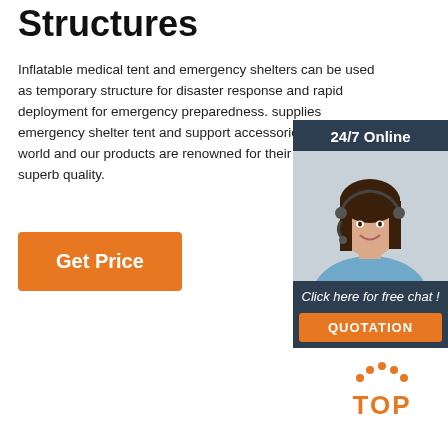Structures
Inflatable medical tent and emergency shelters can be used as temporary structure for disaster response and rapid deployment for emergency preparedness. supplies emergency shelter tent and support accessories all over the world and our products are renowned for their reliability and superb quality.
Get Price
[Figure (photo): Customer service agent (woman with headset) in sidebar widget with '24/7 Online' header, 'Click here for free chat!' text, and 'QUOTATION' orange button]
[Figure (logo): Orange TOP logo with dotted arch above the word TOP]